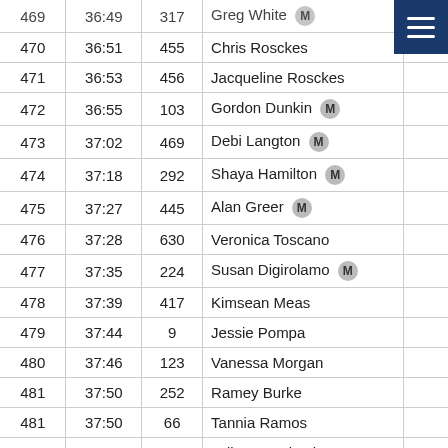| Place | Time | Bib | Name |  |
| --- | --- | --- | --- | --- |
| 469 | 36:49 | 317 | Greg White M |  |
| 470 | 36:51 | 455 | Chris Rosckes |  |
| 471 | 36:53 | 456 | Jacqueline Rosckes |  |
| 472 | 36:55 | 103 | Gordon Dunkin M |  |
| 473 | 37:02 | 469 | Debi Langton M |  |
| 474 | 37:18 | 292 | Shaya Hamilton M |  |
| 475 | 37:27 | 445 | Alan Greer M |  |
| 476 | 37:28 | 630 | Veronica Toscano |  |
| 477 | 37:35 | 224 | Susan Digirolamo M |  |
| 478 | 37:39 | 417 | Kimsean Meas |  |
| 479 | 37:44 | 9 | Jessie Pompa |  |
| 480 | 37:46 | 123 | Vanessa Morgan |  |
| 481 | 37:50 | 252 | Ramey Burke |  |
| 481 | 37:50 | 66 | Tannia Ramos |  |
| 483 | 38:01 | 282 | Julian Russbach |  |
| 484 | 38:07 | 257 | John Sutton M |  |
| 485 | 38:33 | 507 | MARY GRANDFIELD |  |
| 486 | 39:05 | 487 | Corey Barkwill M |  |
| 487 | 39:13 | 339 | Alan Creel M |  |